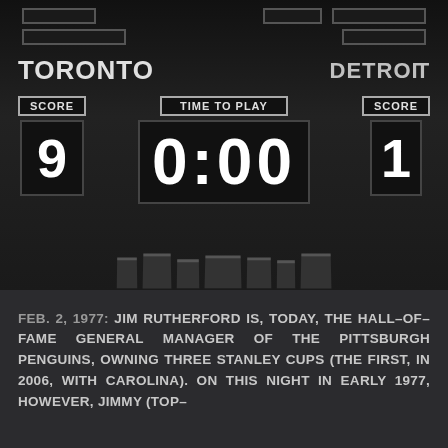[Figure (photo): Black and white photograph of an old hockey scoreboard showing TORONTO on the left and DETROIT on the right, with TIME TO PLAY displaying 0:00, SCORE showing 9 for Toronto and 1 for Detroit.]
FEB. 2, 1977: JIM RUTHERFORD IS, TODAY, THE HALL-OF-FAME GENERAL MANAGER OF THE PITTSBURGH PENGUINS, OWNING THREE STANLEY CUPS (THE FIRST, IN 2006, WITH CAROLINA). ON THIS NIGHT IN EARLY 1977, HOWEVER, JIMMY (TOP-